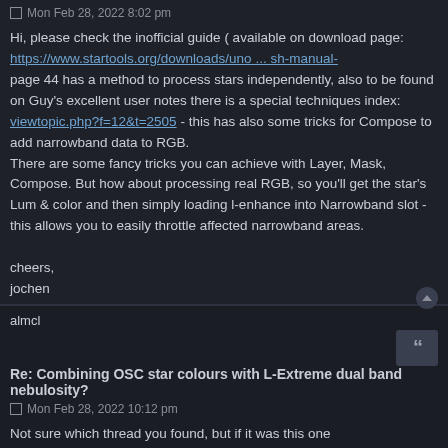Mon Feb 28, 2022 8:02 pm
Hi, please check the inofficial guide ( available on download page: https://www.startools.org/downloads/uno ... sh-manual- page 44 has a method to process stars independently, also to be found on Guy's excellent user notes there is a special techniques index: viewtopic.php?f=12&t=2505 - this has also some tricks for Compose to add narrowband data to RGB.
There are some fancy tricks you can achieve with Layer, Mask, Compose. But how about processing real RGB, so you'll get the star's Lum & color and then simply loading l-enhance into Narrowband slot - this allows you to easily throttle affected narrowband areas.

cheers,
jochen
almcl
Re: Combining OSC star colours with L-Extreme dual band nebulosity?
Mon Feb 28, 2022 10:12 pm
Not sure which thread you found, but if it was this one
viewtopic.php?f=4&t=2003&p=8776&hilit=RGB+stars#p8776